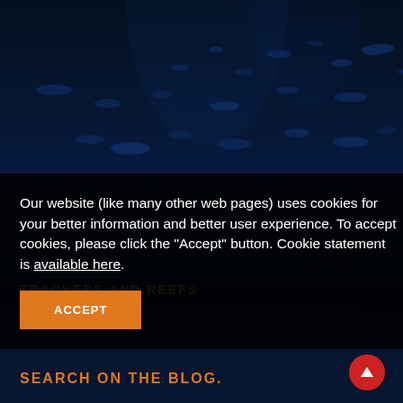[Figure (photo): Dark underwater ocean scene with fish silhouettes and a diver, deep blue color tone]
Our website (like many other web pages) uses cookies for your better information and better user experience. To accept cookies, please click the "Accept" button. Cookie statement is available here.
ACCEPT
TRACKERS AND REEFS
SEARCH ON THE BLOG.